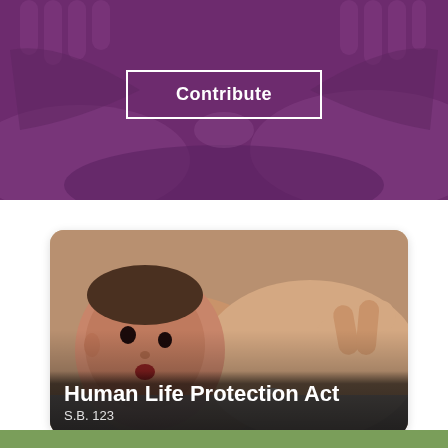[Figure (photo): Dark purple/maroon banner background with overlapping adult and infant hands, suggesting care and protection. A white-bordered 'Contribute' button is centered in the upper portion.]
Contribute
[Figure (photo): A newborn baby lying on its back, mouth open, being held by adult hands. Card with rounded corners overlaid with text.]
Human Life Protection Act
S.B. 123